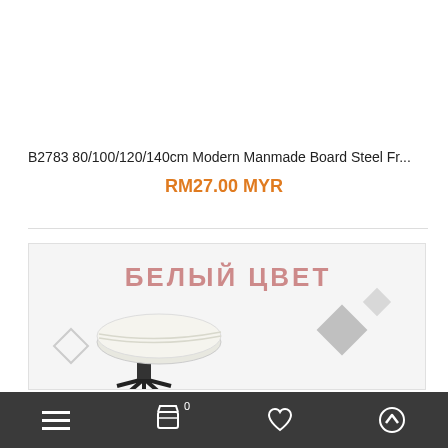B2783 80/100/120/140cm Modern Manmade Board Steel Fr...
RM27.00 MYR
[Figure (photo): Product listing page showing a white office/desk chair with black base on a decorative background with Russian text 'БЕЛЫЙ ЦВЕТ' (White Color) and grey diamond shapes]
Navigation bar with menu, cart (0), heart, and up arrow icons